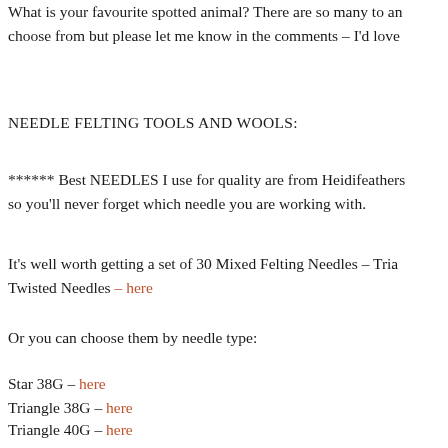What is your favourite spotted animal? There are so many to an… choose from but please let me know in the comments – I'd love
NEEDLE FELTING TOOLS AND WOOLS:
****** Best NEEDLES I use for quality are from Heidifeathers so you'll never forget which needle you are working with.
It's well worth getting a set of 30 Mixed Felting Needles – Tria… Twisted Needles – here
Or you can choose them by needle type:
Star 38G – here
Triangle 38G – here
Triangle 40G – here
Twisted 38G – here